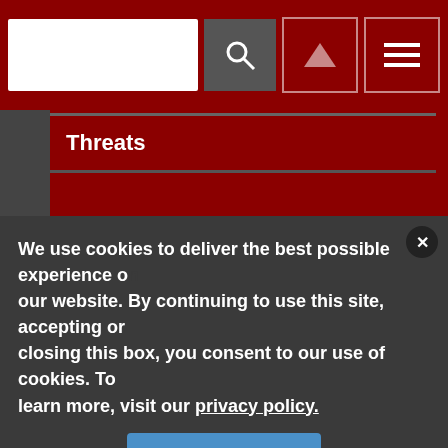[Figure (screenshot): Website top navigation bar with search input field, search button, up arrow icon button, and hamburger menu icon button on dark red background]
Threats
Global VMS Market Projected to be Valued at $30 Billion in a Decade
ESA's Executive Management Professionals Group Accepting New Members
Security Industry Association Announces RISE
We use cookies to deliver the best possible experience on our website. By continuing to use this site, accepting or closing this box, you consent to our use of cookies. To learn more, visit our privacy policy.
Accept All